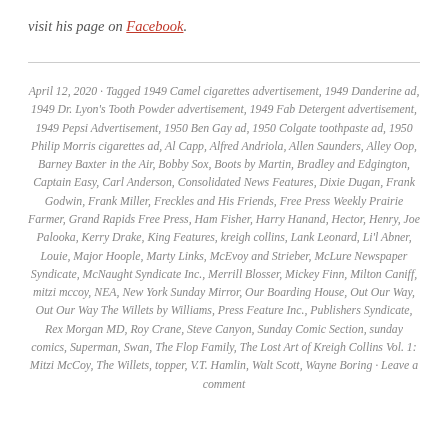visit his page on Facebook.
April 12, 2020 · Tagged 1949 Camel cigarettes advertisement, 1949 Danderine ad, 1949 Dr. Lyon's Tooth Powder advertisement, 1949 Fab Detergent advertisement, 1949 Pepsi Advertisement, 1950 Ben Gay ad, 1950 Colgate toothpaste ad, 1950 Philip Morris cigarettes ad, Al Capp, Alfred Andriola, Allen Saunders, Alley Oop, Barney Baxter in the Air, Bobby Sox, Boots by Martin, Bradley and Edgington, Captain Easy, Carl Anderson, Consolidated News Features, Dixie Dugan, Frank Godwin, Frank Miller, Freckles and His Friends, Free Press Weekly Prairie Farmer, Grand Rapids Free Press, Ham Fisher, Harry Hanand, Hector, Henry, Joe Palooka, Kerry Drake, King Features, kreigh collins, Lank Leonard, Li'l Abner, Louie, Major Hoople, Marty Links, McEvoy and Strieber, McLure Newspaper Syndicate, McNaught Syndicate Inc., Merrill Blosser, Mickey Finn, Milton Caniff, mitzi mccoy, NEA, New York Sunday Mirror, Our Boarding House, Out Our Way, Out Our Way The Willets by Williams, Press Feature Inc., Publishers Syndicate, Rex Morgan MD, Roy Crane, Steve Canyon, Sunday Comic Section, sunday comics, Superman, Swan, The Flop Family, The Lost Art of Kreigh Collins Vol. 1: Mitzi McCoy, The Willets, topper, V.T. Hamlin, Walt Scott, Wayne Boring · Leave a comment